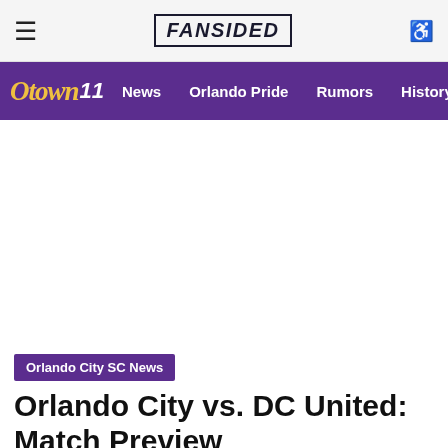≡  FANSIDED  ♿
OTown 11  News  Orlando Pride  Rumors  History  S
Orlando City SC News
Orlando City vs. DC United: Match Preview